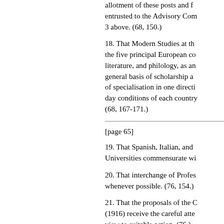allotment of these posts and f… entrusted to the Advisory Com… 3 above. (68, 150.)
18. That Modern Studies at th… the five principal European co… literature, and philology, as an… general basis of scholarship an… of specialisation in one directi… day conditions of each country… (68, 167-171.)
[page 65]
19. That Spanish, Italian, and … Universities commensurate wi…
20. That interchange of Profes… whenever possible. (76, 154.)
21. That the proposals of the C… (1916) receive the careful atte… view to suitable action. (76.)
22. That encouragement be gi…